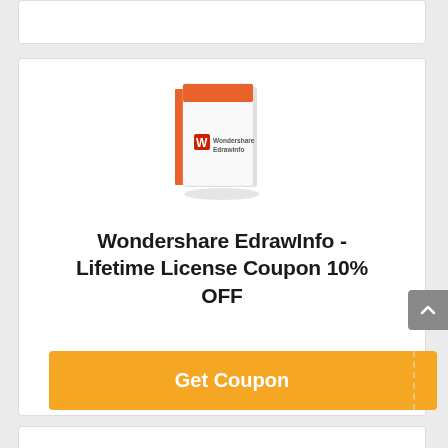[Figure (illustration): Wondershare EdrawInfo software box product image - white and orange colored software box]
Wondershare EdrawInfo - Lifetime License Coupon 10% OFF
[Figure (other): Orange 'Get Coupon' button with dashed tear edge on the right side]
[Figure (other): Grey scroll-to-top arrow button on the right edge]